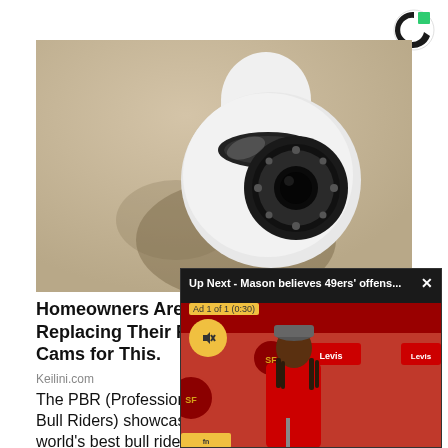[Figure (logo): Comscore or similar circular logo with green and dark segments, top right corner]
[Figure (photo): Close-up photo of a white dome security camera mounted on a beige/tan wall, tilted downward, with a black lens ring and night vision LEDs visible]
Homeowners Are Replacing Their Ring Cams for This.
Keilini.com
The PBR (Professional Bull Riders) showcases the world's best bull riders
[Figure (screenshot): Video overlay panel showing 'Up Next - Mason believes 49ers' offens...' with an X close button, yellow Ad 1 of 1 (0:30) label, mute button icon, and a San Francisco 49ers press conference scene with a player in red 49ers shirt at a podium, Levi's sponsor logos in background]